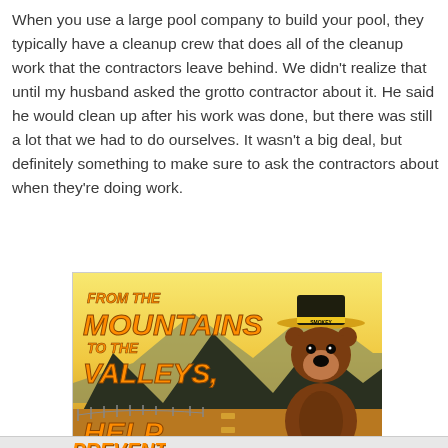When you use a large pool company to build your pool, they typically have a cleanup crew that does all of the cleanup work that the contractors leave behind.  We didn't realize that until my husband asked the grotto contractor about it.  He said he would clean up after his work was done, but there was still a lot that we had to do ourselves.  It wasn't a big deal, but definitely something to make sure to ask the contractors about when they're doing work.
[Figure (illustration): Smokey Bear advertisement with text 'FROM THE MOUNTAINS TO THE VALLEYS.' and 'HELP PREVENT' visible, showing Smokey Bear wearing his ranger hat against a mountain landscape background.]